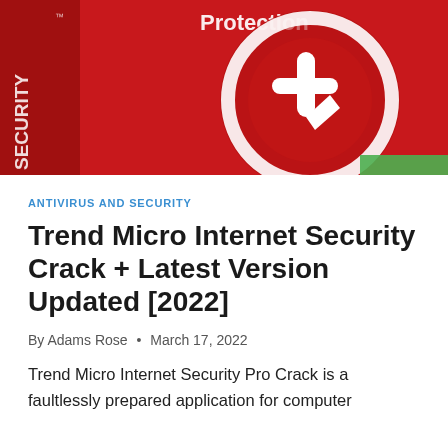[Figure (photo): Red Trend Micro Internet Security software box with white 't' logo and 'Protection' text visible on a red background]
ANTIVIRUS AND SECURITY
Trend Micro Internet Security Crack + Latest Version Updated [2022]
By Adams Rose • March 17, 2022
Trend Micro Internet Security Pro Crack is a faultlessly prepared application for computer